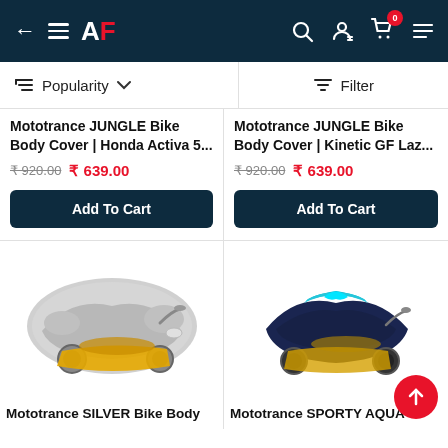AF — App header with back arrow, menu, logo, search, account, cart (0)
Popularity ∨   Filter
Mototrance JUNGLE Bike Body Cover | Honda Activa 5... ₹920.00 ₹ 639.00
Add To Cart
Mototrance JUNGLE Bike Body Cover | Kinetic GF Laz... ₹920.00 ₹ 639.00
Add To Cart
[Figure (photo): Silver/grey motorcycle body cover with a yellow scooter (Honda Activa style)]
Mototrance SILVER Bike Body
[Figure (photo): Navy blue and cyan motorcycle body cover with a yellow scooter]
Mototrance SPORTY AQUA